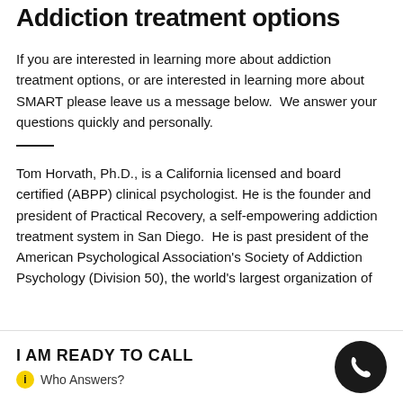Addiction treatment options
If you are interested in learning more about addiction treatment options, or are interested in learning more about SMART please leave us a message below.  We answer your questions quickly and personally.
Tom Horvath, Ph.D., is a California licensed and board certified (ABPP) clinical psychologist. He is the founder and president of Practical Recovery, a self-empowering addiction treatment system in San Diego.  He is past president of the American Psychological Association's Society of Addiction Psychology (Division 50), the world's largest organization of
I AM READY TO CALL
Who Answers?